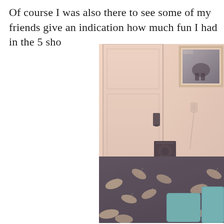Of course I was also there to see some of my friends give an indication how much fun I had in the 5 sho...
[Figure (photo): Interior photo of a bedroom showing a white door with handle, a framed picture on the wall, a dresser with drawers (brown and grey), a black speaker on top, and a bed with dark floral/leaf patterned bedding and teal pillows in the foreground. The photo has a warm/faded vintage filter.]